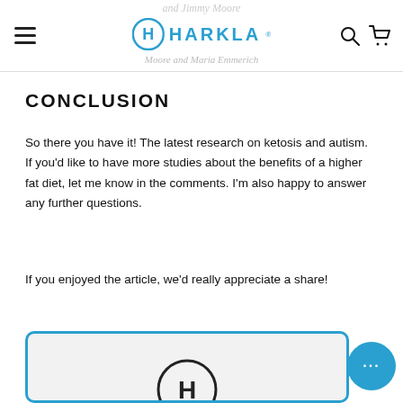HARKLA
and Jimmy Moore and Maria Emmerich
CONCLUSION
So there you have it! The latest research on ketosis and autism. If you’d like to have more studies about the benefits of a higher fat diet, let me know in the comments. I’m also happy to answer any further questions.
If you enjoyed the article, we’d really appreciate a share!
[Figure (logo): Harkla logo card preview at bottom of page with blue border]